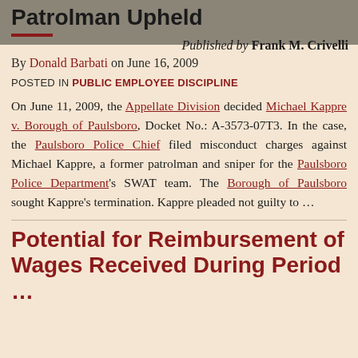Termination of Municipal Patrolman Upheld
Published by Frank M. Crivelli
By Donald Barbati on June 16, 2009
POSTED IN PUBLIC EMPLOYEE DISCIPLINE
On June 11, 2009, the Appellate Division decided Michael Kappre v. Borough of Paulsboro, Docket No.: A-3573-07T3. In the case, the Paulsboro Police Chief filed misconduct charges against Michael Kappre, a former patrolman and sniper for the Paulsboro Police Department's SWAT team. The Borough of Paulsboro sought Kappre's termination. Kappre pleaded not guilty to …
Potential for Reimbursement of Wages Received During Period …